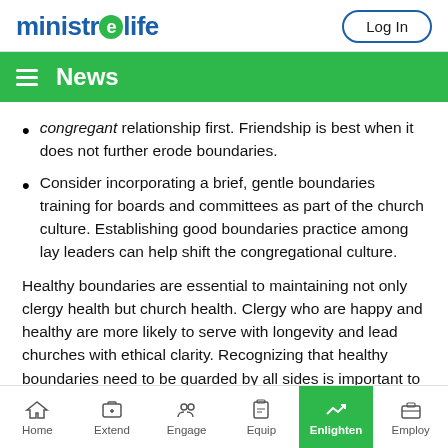ministrElife | Log In
News
congregant relationship first. Friendship is best when it does not further erode boundaries.
Consider incorporating a brief, gentle boundaries training for boards and committees as part of the church culture. Establishing good boundaries practice among lay leaders can help shift the congregational culture.
Healthy boundaries are essential to maintaining not only clergy health but church health. Clergy who are happy and healthy are more likely to serve with longevity and lead churches with ethical clarity. Recognizing that healthy boundaries need to be guarded by all sides is important to the continual health of the church.
Home | Extend | Engage | Equip | Enlighten | Employ